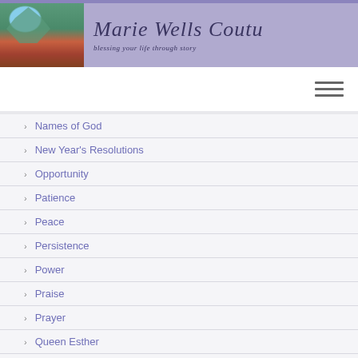Marie Wells Coutu — blessing your life through story
Names of God
New Year's Resolutions
Opportunity
Patience
Peace
Persistence
Power
Praise
Prayer
Queen Esther
Questioning God